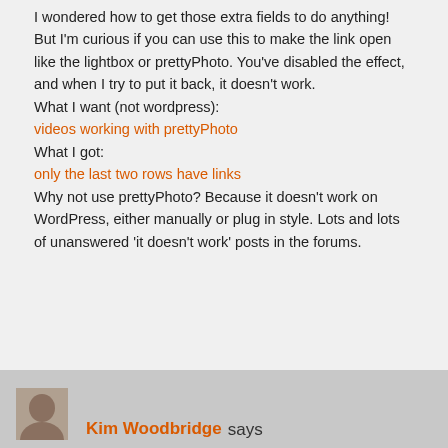I wondered how to get those extra fields to do anything! But I'm curious if you can use this to make the link open like the lightbox or prettyPhoto. You've disabled the effect, and when I try to put it back, it doesn't work.
What I want (not wordpress):
videos working with prettyPhoto
What I got:
only the last two rows have links
Why not use prettyPhoto? Because it doesn't work on WordPress, either manually or plug in style. Lots and lots of unanswered 'it doesn't work' posts in the forums.
Kim Woodbridge says